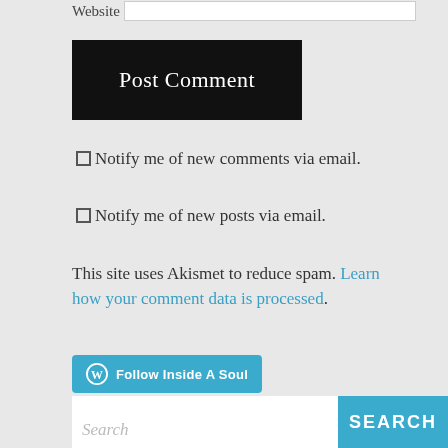Website [input field]
Post Comment
Notify me of new comments via email.
Notify me of new posts via email.
This site uses Akismet to reduce spam. Learn how your comment data is processed.
Follow Inside A Soul
Search